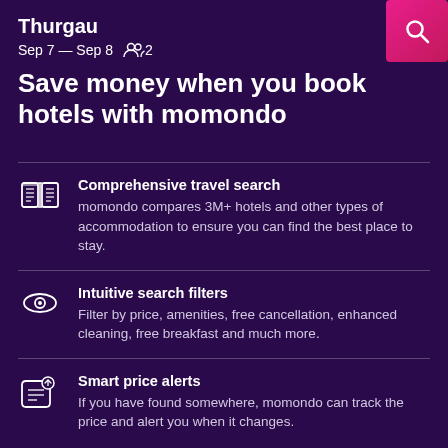Thurgau
Sep 7 — Sep 8  2
Save money when you book hotels with momondo
Comprehensive travel search
momondo compares 3M+ hotels and other types of accommodation to ensure you can find the best place to stay.
Intuitive search filters
Filter by price, amenities, free cancellation, enhanced cleaning, free breakfast and much more.
Smart price alerts
If you have found somewhere, momondo can track the price and alert you when it changes.